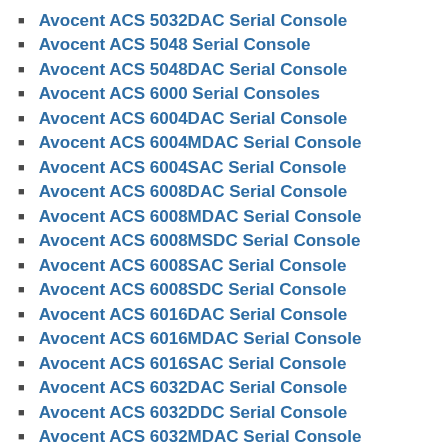Avocent ACS 5032DAC Serial Console
Avocent ACS 5048 Serial Console
Avocent ACS 5048DAC Serial Console
Avocent ACS 6000 Serial Consoles
Avocent ACS 6004DAC Serial Console
Avocent ACS 6004MDAC Serial Console
Avocent ACS 6004SAC Serial Console
Avocent ACS 6008DAC Serial Console
Avocent ACS 6008MDAC Serial Console
Avocent ACS 6008MSDC Serial Console
Avocent ACS 6008SAC Serial Console
Avocent ACS 6008SDC Serial Console
Avocent ACS 6016DAC Serial Console
Avocent ACS 6016MDAC Serial Console
Avocent ACS 6016SAC Serial Console
Avocent ACS 6032DAC Serial Console
Avocent ACS 6032DDC Serial Console
Avocent ACS 6032MDAC Serial Console
Avocent ACS 6032MDDC Serial Console